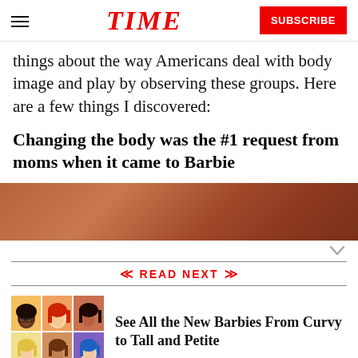TIME — SUBSCRIBE
things about the way Americans deal with body image and play by observing these groups. Here are a few things I discovered:
Changing the body was the #1 request from moms when it came to Barbie
[Figure (photo): Partial image of Barbie dolls, warm brown/skin-toned background, cropped at bottom]
READ NEXT
[Figure (photo): Grid of six Barbie doll faces/heads showing diverse skin tones and hair colors]
See All the New Barbies From Curvy to Tall and Petite